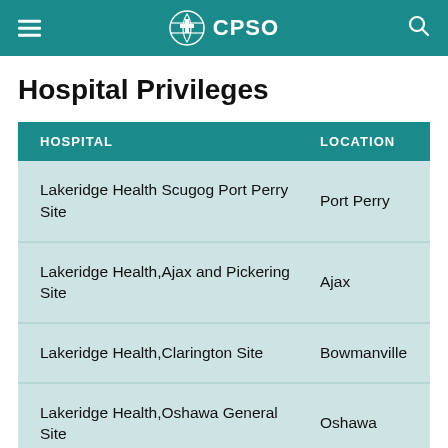CPSO
Hospital Privileges
| HOSPITAL | LOCATION |
| --- | --- |
| Lakeridge Health Scugog Port Perry Site | Port Perry |
| Lakeridge Health,Ajax and Pickering Site | Ajax |
| Lakeridge Health,Clarington Site | Bowmanville |
| Lakeridge Health,Oshawa General Site | Oshawa |